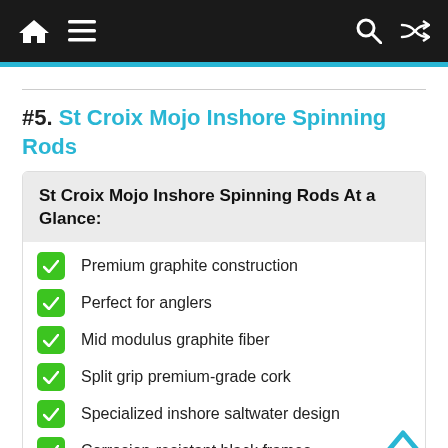Navigation bar with home, menu, search, and shuffle icons
#5. St Croix Mojo Inshore Spinning Rods
St Croix Mojo Inshore Spinning Rods At a Glance:
Premium graphite construction
Perfect for anglers
Mid modulus graphite fiber
Split grip premium-grade cork
Specialized inshore saltwater design
Corrosion-resistant black frames.